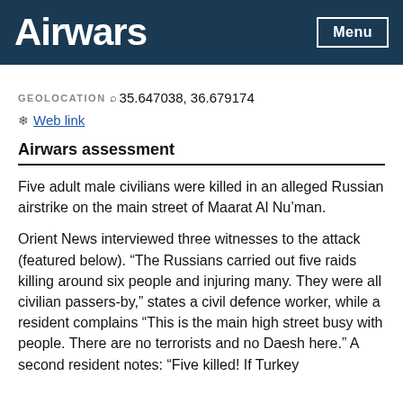Airwars
GEOLOCATION 35.647038, 36.679174
Web link
Airwars assessment
Five adult male civilians were killed in an alleged Russian airstrike on the main street of Maarat Al Nu'man.
Orient News interviewed three witnesses to the attack (featured below). “The Russians carried out five raids killing around six people and injuring many. They were all civilian passers-by,” states a civil defence worker, while a resident complains “This is the main high street busy with people. There are no terrorists and no Daesh here.” A second resident notes: “Five killed! If Turkey